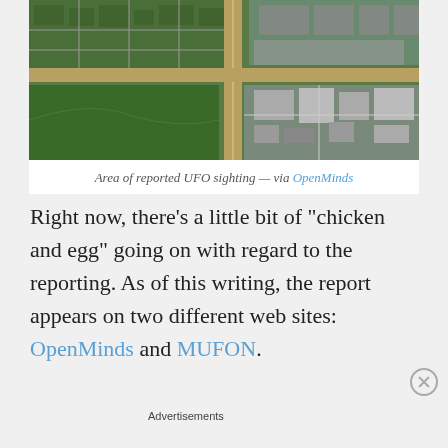[Figure (photo): Aerial satellite view of an area showing roads, residential neighborhoods, green spaces, and commercial/parking areas. A vertical road runs through the center of the image.]
Area of reported UFO sighting — via OpenMinds
Right now, there's a little bit of "chicken and egg" going on with regard to the reporting. As of this writing, the report appears on two different web sites: OpenMinds and MUFON.
Advertisements